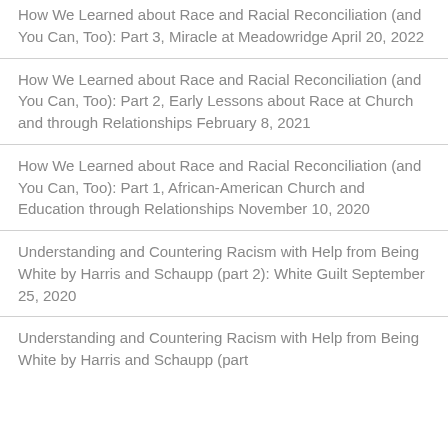How We Learned about Race and Racial Reconciliation (and You Can, Too): Part 3, Miracle at Meadowridge April 20, 2022
How We Learned about Race and Racial Reconciliation (and You Can, Too): Part 2, Early Lessons about Race at Church and through Relationships February 8, 2021
How We Learned about Race and Racial Reconciliation (and You Can, Too): Part 1, African-American Church and Education through Relationships November 10, 2020
Understanding and Countering Racism with Help from Being White by Harris and Schaupp (part 2): White Guilt September 25, 2020
Understanding and Countering Racism with Help from Being White by Harris and Schaupp (part